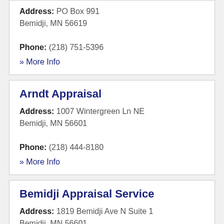Address: PO Box 991
Bemidji, MN 56619
Phone: (218) 751-5396
» More Info
Arndt Appraisal
Address: 1007 Wintergreen Ln NE
Bemidji, MN 56601
Phone: (218) 444-8180
» More Info
Bemidji Appraisal Service
Address: 1819 Bemidji Ave N Suite 1
Bemidji, MN 56601